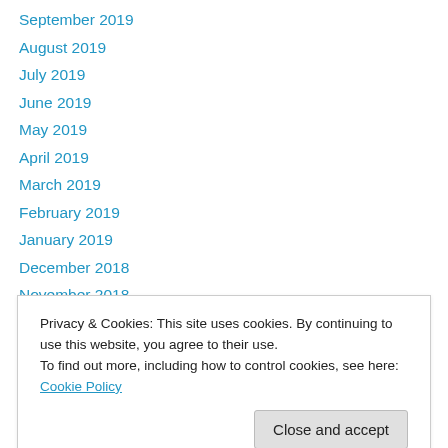September 2019
August 2019
July 2019
June 2019
May 2019
April 2019
March 2019
February 2019
January 2019
December 2018
November 2018
October 2018
September 2018
Privacy & Cookies: This site uses cookies. By continuing to use this website, you agree to their use. To find out more, including how to control cookies, see here: Cookie Policy
February 2018